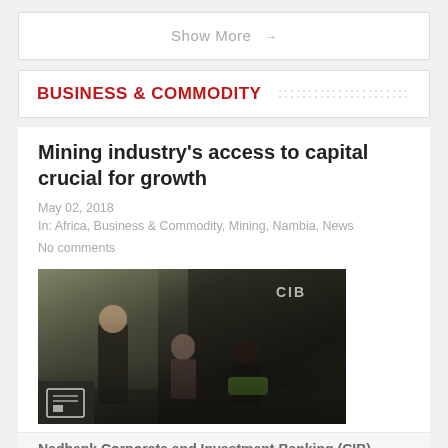Show More →
BUSINESS & COMMODITY
Mining industry's access to capital crucial for growth
May 02, 2018
In: Africa, Business & Commodity, Mining, Nambia, News
No comments
[Figure (photo): Two people seated and one standing at what appears to be a corporate event or panel discussion with CIB branding in the background]
Nedbank Corporate and Investment Banking (CIB)